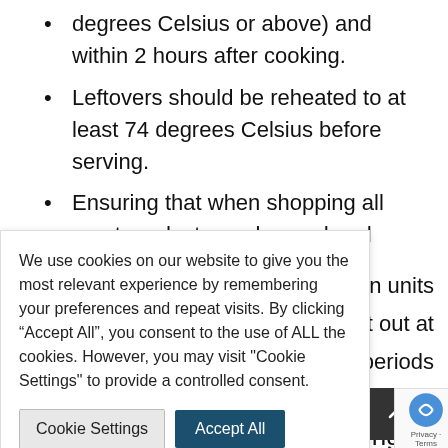degrees Celsius or above) and within 2 hours after cooking.
Leftovers should be reheated to at least 74 degrees Celsius before serving.
Ensuring that when shopping all meat products are bagged and packed separately
ation units
t out at
nded periods
ng ell
before a
We use cookies on our website to give you the most relevant experience by remembering your preferences and repeat visits. By clicking “Accept All”, you consent to the use of ALL the cookies. However, you may visit "Cookie Settings" to provide a controlled consent.
Cookie Settings | Accept All
[Figure (other): Scroll-to-top arrow button (dark background with upward chevron)]
[Figure (other): Google reCAPTCHA badge with Privacy and Terms text]